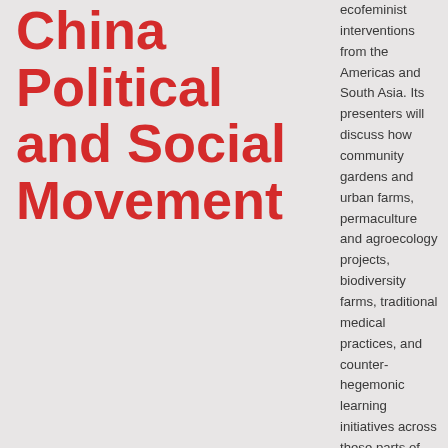China Political and Social Movement
ecofeminist interventions from the Americas and South Asia. Its presenters will discuss how community gardens and urban farms, permaculture and agroecology projects, biodiversity farms, traditional medical practices, and counter-hegemonic learning initiatives across these parts of the world are recentering multiply marginalized womxn at the same time as they address pressing threats to land, food, and water sovereignty.